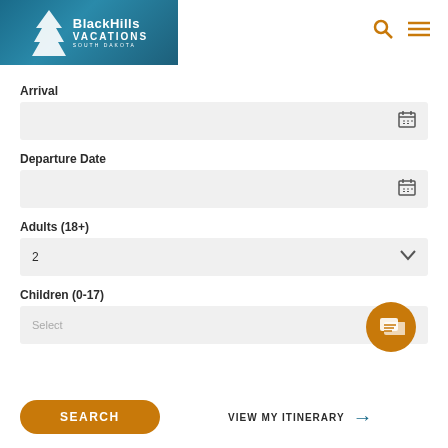[Figure (logo): Black Hills Vacations logo with white tree silhouettes on blue background and navigation icons (search, hamburger menu) in orange]
Arrival
[Figure (other): Date input field with calendar icon]
Departure Date
[Figure (other): Date input field with calendar icon]
Adults (18+)
[Figure (other): Dropdown field showing value 2 with chevron]
Children (0-17)
[Figure (other): Dropdown field with placeholder Select and orange chat bubble icon]
[Figure (other): SEARCH button (orange rounded) and VIEW MY ITINERARY link with blue arrow]